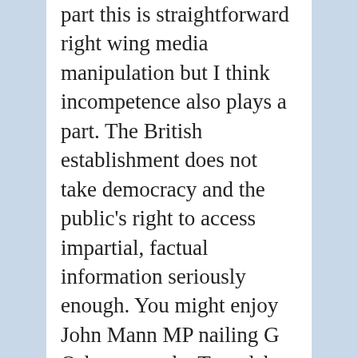part this is straightforward right wing media manipulation but I think incompetence also plays a part. The British establishment does not take democracy and the public's right to access impartial, factual information seriously enough. You might enjoy John Mann MP nailing G Osborne on the Tory debt lie at::http://www.youtube.com/watch?v=AQYfPhtWpy8&feat